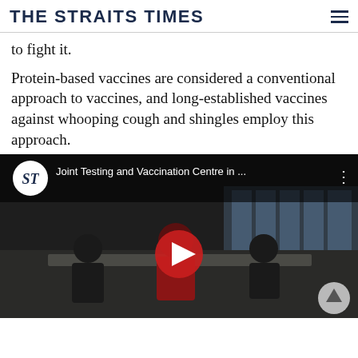THE STRAITS TIMES
to fight it.
Protein-based vaccines are considered a conventional approach to vaccines, and long-established vaccines against whooping cough and shingles employ this approach.
[Figure (screenshot): YouTube video thumbnail showing 'Joint Testing and Vaccination Centre in ...' with The Straits Times logo, people seated at tables in the background, and a red play button overlay.]